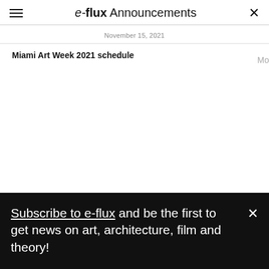e-flux Announcements
November 15, 2021
Miami Art Week 2021 schedule
Mo
Subscribe to e-flux and be the first to get news on art, architecture, film and theory!